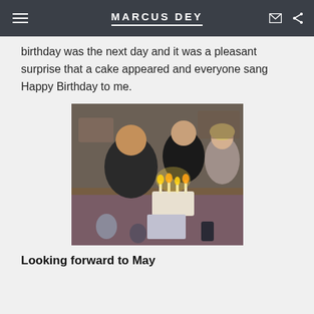Marcus Dey
birthday was the next day and it was a pleasant surprise that a cake appeared and everyone sang Happy Birthday to me.
[Figure (photo): Group of people sitting around a table with a birthday cake with candles lit in front of one person who is leaning over it. Other people are seated around the table in what appears to be an outdoor or semi-outdoor restaurant setting.]
Looking forward to May